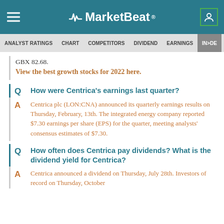MarketBeat
ANALYST RATINGS  CHART  COMPETITORS  DIVIDEND  EARNINGS  IN>IDE
GBX 82.68.
View the best growth stocks for 2022 here.
Q  How were Centrica’s earnings last quarter?
A  Centrica plc (LON:CNA) announced its quarterly earnings results on Thursday, February, 13th. The integrated energy company reported $7.30 earnings per share (EPS) for the quarter, meeting analysts’ consensus estimates of $7.30.
Q  How often does Centrica pay dividends? What is the dividend yield for Centrica?
A  Centrica announced a dividend on Thursday, July 28th. Investors of record on Thursday, October